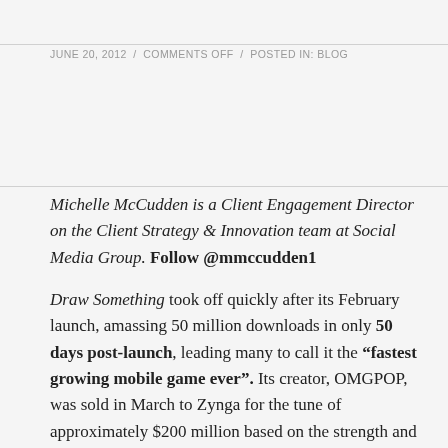JUNE 20, 2012 / COMMENTS OFF / POSTED IN: BLOG
Michelle McCudden is a Client Engagement Director on the Client Strategy & Innovation team at Social Media Group. Follow @mmccudden1
Draw Something took off quickly after its February launch, amassing 50 million downloads in only 50 days post-launch, leading many to call it the "fastest growing mobile game ever". Its creator, OMGPOP, was sold in March to Zynga for the tune of approximately $200 million based on the strength and popularity of Draw Something. Shortly thereafter, there was a shift. Daily users began to drop. According to AppData, they're down to just 5 million daily active users, down from 14.6 million at its peak on April 3. This drop continues, despite